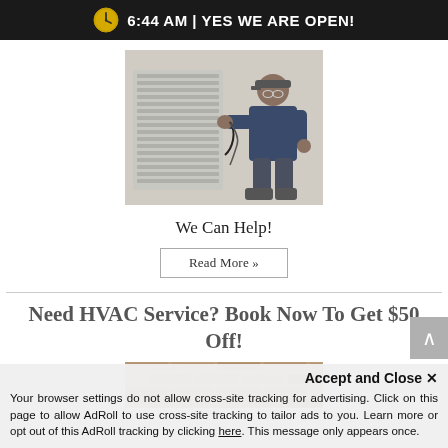6:44 AM | YES WE ARE OPEN!
[Figure (photo): HVAC technician in cap crouching next to an outdoor air conditioning unit, working on it]
We Can Help!
Read More »
Need HVAC Service? Book Now To Get $50 Off!
[Figure (photo): Partial image of a brick wall/building exterior related to HVAC service]
Accept and Close ✕
Your browser settings do not allow cross-site tracking for advertising. Click on this page to allow AdRoll to use cross-site tracking to tailor ads to you. Learn more or opt out of this AdRoll tracking by clicking here. This message only appears once.